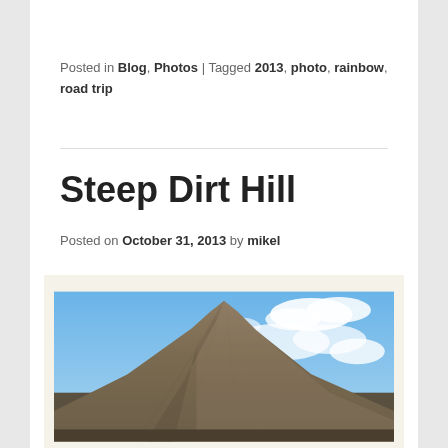Posted in Blog, Photos | Tagged 2013, photo, rainbow, road trip
Steep Dirt Hill
Posted on October 31, 2013 by mikel
[Figure (photo): Photograph of a steep dirt hill or mound with layered earth tones, under a blue sky with white clouds. The hill rises to a sharp peak in the center-left of the frame.]